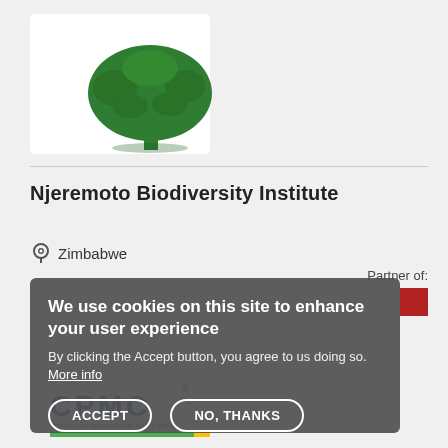[Figure (logo): Green tree logo for Njeremoto Biodiversity Institute on white card background]
Njeremoto Biodiversity Institute
Zimbabwe
Partner of:
[Figure (logo): Red square logo (partner organization)]
We use cookies on this site to enhance your user experience
By clicking the Accept button, you agree to us doing so. More info
ACCEPT   NO, THANKS
[Figure (logo): CPMC Centro de Produccion Mas Limpia logo at bottom]